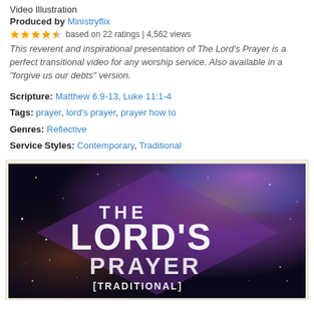Video Illustration
Produced by Ministryflix
★★★★½ based on 22 ratings | 4,562 views
This reverent and inspirational presentation of The Lord's Prayer is a perfect transitional video for any worship service. Also available in a "forgive us our debts" version.
Scripture: Matthew 6:9-13, Luke 11:1-4
Tags: prayer, lord's prayer, prayer how to
Genres: Reflective
Service Styles: Contemporary, Traditional
[Figure (photo): Thumbnail image for 'The Lord's Prayer [Traditional]' video — space/nebula background with text overlay showing THE LORD'S PRAYER [TRADITIONAL]]